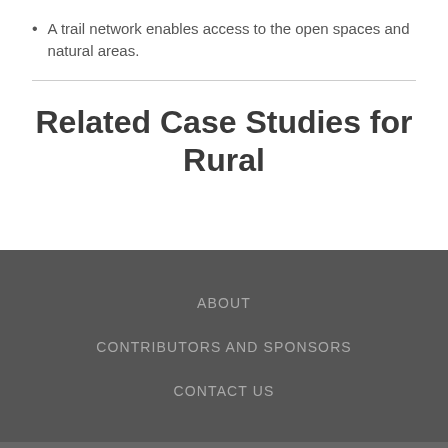A trail network enables access to the open spaces and natural areas.
Related Case Studies for Rural
ABOUT
CONTRIBUTORS AND SPONSORS
CONTACT US